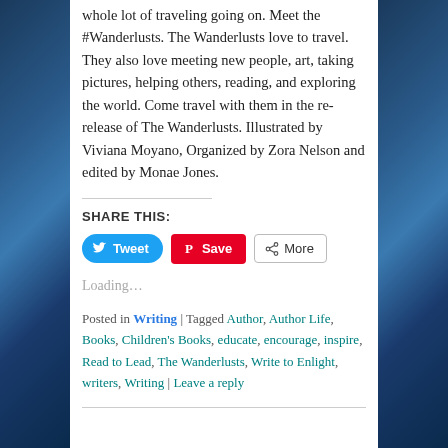whole lot of traveling going on. Meet the #Wanderlusts. The Wanderlusts love to travel. They also love meeting new people, art, taking pictures, helping others, reading, and exploring the world. Come travel with them in the re-release of The Wanderlusts. Illustrated by Viviana Moyano, Organized by Zora Nelson and edited by Monae Jones.
SHARE THIS:
[Figure (screenshot): Social sharing buttons: Tweet (blue, Twitter bird icon), Save (red, Pinterest P icon), More (gray, share icon)]
Loading...
Posted in Writing | Tagged Author, Author Life, Books, Children's Books, educate, encourage, inspire, Read to Lead, The Wanderlusts, Write to Enlight, writers, Writing | Leave a reply